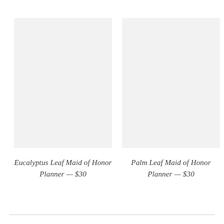[Figure (photo): Product image placeholder — light gray rectangle for Eucalyptus Leaf Maid of Honor Planner]
Eucalyptus Leaf Maid of Honor Planner — $30
[Figure (photo): Product image placeholder — light gray rectangle for Palm Leaf Maid of Honor Planner]
Palm Leaf Maid of Honor Planner — $30